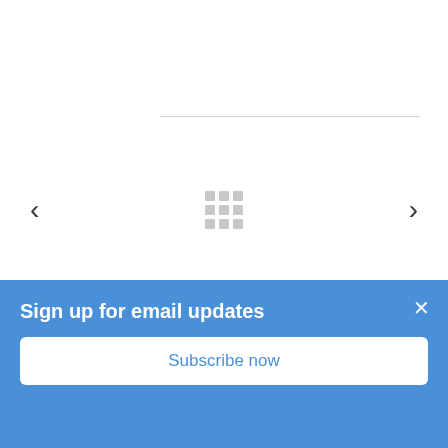[Figure (screenshot): Carousel navigation area with left arrow, grid icon placeholder, and right arrow, bounded by two horizontal divider lines]
RELATED MACHINES
Sign up for email updates
Subscribe now